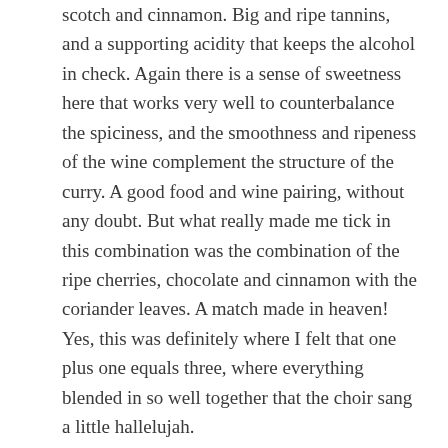scotch and cinnamon. Big and ripe tannins, and a supporting acidity that keeps the alcohol in check. Again there is a sense of sweetness here that works very well to counterbalance the spiciness, and the smoothness and ripeness of the wine complement the structure of the curry. A good food and wine pairing, without any doubt. But what really made me tick in this combination was the combination of the ripe cherries, chocolate and cinnamon with the coriander leaves. A match made in heaven! Yes, this was definitely where I felt that one plus one equals three, where everything blended in so well together that the choir sang a little hallelujah.
The effect of the coriander with the Amarone is an example of how food and wine pairing is not a science, but something that you can discover and that will give